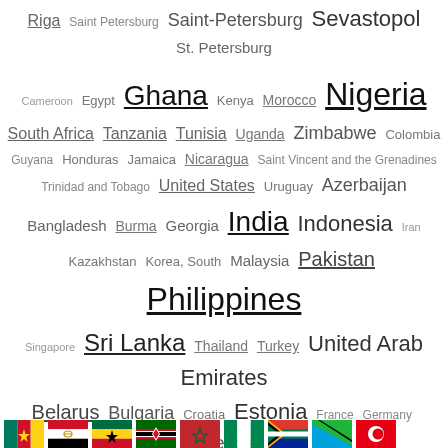Riga Saint Petersburg Saint-Petersburg Sevastopol St. Petersburg
Cameroon Egypt Ghana Kenya Morocco Nigeria South Africa Tanzania Tunisia Uganda Zimbabwe Colombia Guyana Honduras Jamaica Nicaragua Saint Vincent and the Grenadines Trinidad and Tobago United States Uruguay Azerbaijan Bangladesh Burma Georgia India Indonesia Iran Kazakhstan Korea, South Malaysia Pakistan Philippines Singapore Sri Lanka Thailand Turkey United Arab Emirates Belarus Bulgaria Croatia Estonia France Germany Greece Ireland Italy Latvia Lithuania Moldova Netherlands Poland Portugal Romania Russia Spain Ukraine United Kingdom Australia Kiribati
[Figure (infographic): Row of country flags at bottom: Cameroon, Egypt, Ghana, Kenya, Morocco, Nigeria, South Africa, Tanzania, Tunisia]